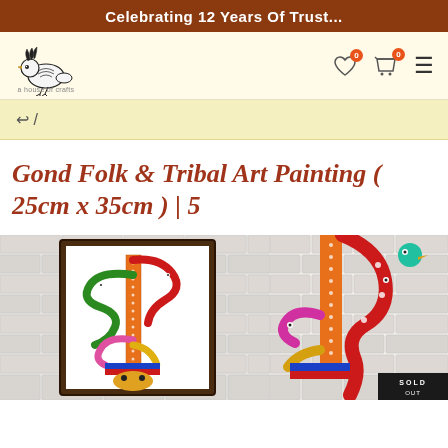Celebrating 12 Years Of Trust...
[Figure (logo): Geetha brand logo with decorative bird illustration and text 'Geetha' below]
← /
Gond Folk & Tribal Art Painting ( 25cm x 35cm ) | 5
[Figure (photo): Product photo showing two views of a Gond folk art painting featuring colorful serpents/birds around a central totem, framed version on left against white brick wall, unframed detail on right. A 'SOLD' badge appears in bottom right corner.]